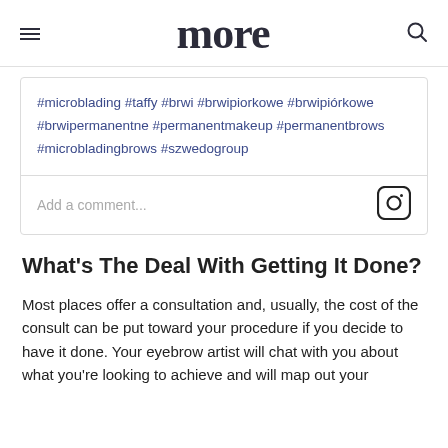more
#microblading #taffy #brwi #brwipiorkowe #brwipiórkowe #brwipermanentne #permanentmakeup #permanentbrows #microbladingbrows #szwedogroup
Add a comment...
What's The Deal With Getting It Done?
Most places offer a consultation and, usually, the cost of the consult can be put toward your procedure if you decide to have it done. Your eyebrow artist will chat with you about what you're looking to achieve and will map out your